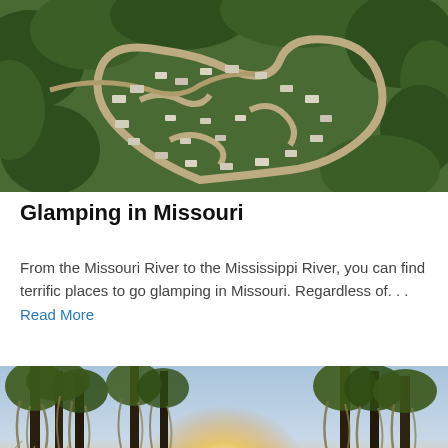[Figure (photo): Aerial view of a campground/glamping site with winding roads and RVs/campers arranged in curved loops surrounded by forest trees]
Glamping in Missouri
From the Missouri River to the Mississippi River, you can find terrific places to go glamping in Missouri. Regardless of. . . Read More
[Figure (photo): Scenic lake or river view at sunset with large cypress trees draped in Spanish moss in the foreground and a glowing sunset on the water]